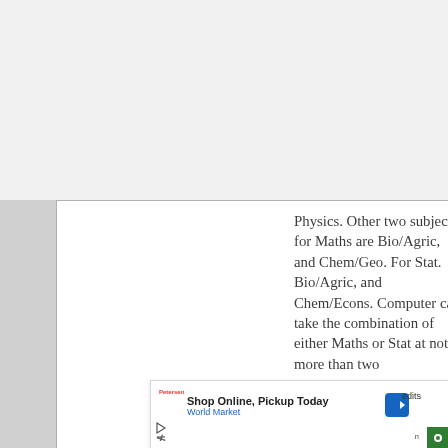Physics. Other two subjects for Maths are Bio/Agric, and Chem/Geo. For Stat. Bio/Agric, and Chem/Econs. Computer can take the combination of either Maths or Stat at not more than two
[Figure (other): Advertisement banner: Shop Online, Pickup Today - World Market, with a blue direction sign icon, Petersen logo, and a green button with cursor icon bottom right. Also shows play and close button icons at bottom left.]